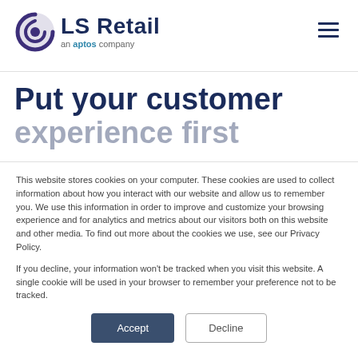[Figure (logo): LS Retail logo with circular S icon in purple/navy, text 'LS Retail' in dark navy, subtitle 'an aptos company' in gray with 'aptos' in teal]
Put your customer experience first
This website stores cookies on your computer. These cookies are used to collect information about how you interact with our website and allow us to remember you. We use this information in order to improve and customize your browsing experience and for analytics and metrics about our visitors both on this website and other media. To find out more about the cookies we use, see our Privacy Policy.
If you decline, your information won’t be tracked when you visit this website. A single cookie will be used in your browser to remember your preference not to be tracked.